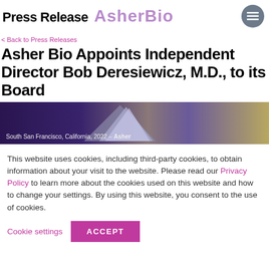Press Release | AsherBio
< Back to Press Releases
Asher Bio Appoints Independent Director Bob Deresiewicz, M.D., to its Board
[Figure (photo): Mountain peak hero image with text: South San Francisco, California, 2022 – Asher]
This website uses cookies, including third-party cookies, to obtain information about your visit to the website. Please read our Privacy Policy to learn more about the cookies used on this website and how to change your settings. By using this website, you consent to the use of cookies.
Cookie settings | ACCEPT